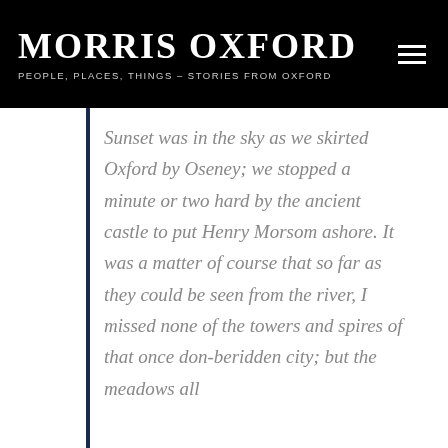MORRIS OXFORD
PEOPLE, PLACES, THINGS – STORIES FROM OXFORD
Sunset was in the sky as we skirted Oxford by Oseney; we stopped a minute or two hard by the ancient castle to put Henry Morsom ashore. It was a matter of course that so far as they could be seen from the river, I missed none of the towers and spires of that once don-beridden city; but the meadows all